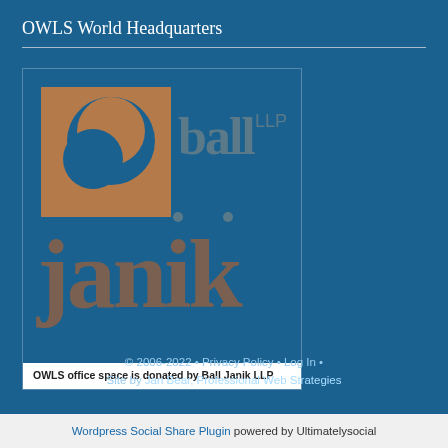OWLS World Headquarters
[Figure (logo): Ball Janik LLP logo on blue background with brown/copper circular icon and bold 'janik' lettering with 'ball' above and 'LLP' superscript. Inside a bordered box.]
OWLS office space is donated by Ball Janik LLP
© 2006-2022 • Privacy Policy • Log In •
Site by Jan Bear, Professional Web Strategies
Wordpress Social Share Plugin powered by Ultimatelysocial